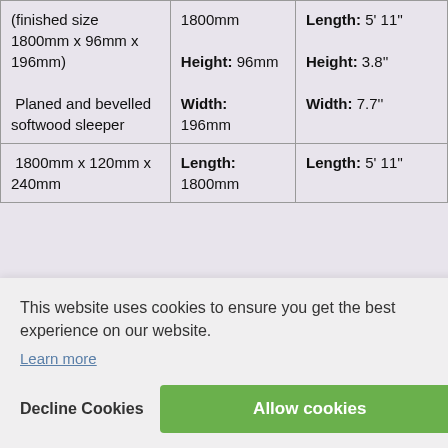| Description | Metric dimensions | Imperial dimensions |
| --- | --- | --- |
| (finished size 1800mm x 96mm x 196mm)

Planed and bevelled softwood sleeper | 1800mm
Height: 96mm
Width: 196mm | Length: 5' 11"
Height: 3.8"
Width: 7.7" |
| 1800mm x 120mm x 240mm | Length: 1800mm | Length: 5' 11" |
| sawn softwood sleeper | 100mm | Height: 3.9" |
This website uses cookies to ensure you get the best experience on our website.
Learn more
Decline Cookies
Allow cookies